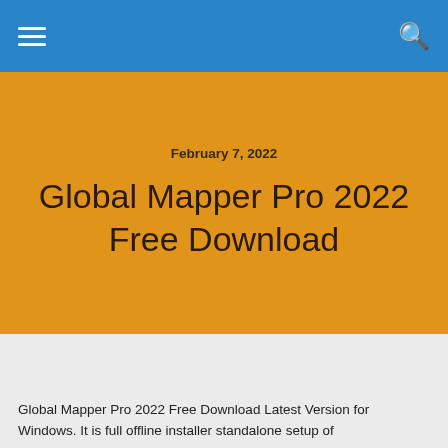≡  🔍
February 7, 2022
Global Mapper Pro 2022 Free Download
Global Mapper Pro 2022 Free Download Latest Version for Windows. It is full offline installer standalone setup of